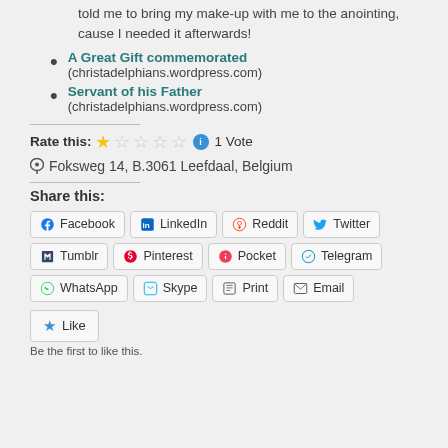told me to bring my make-up with me to the anointing, cause I needed it afterwards!
A Great Gift commemorated (christadelphians.wordpress.com)
Servant of his Father (christadelphians.wordpress.com)
Rate this: 1 Vote
Foksweg 14, B.3061 Leefdaal, Belgium
Share this:
Facebook LinkedIn Reddit Twitter Tumblr Pinterest Pocket Telegram WhatsApp Skype Print Email
Like
Be the first to like this.